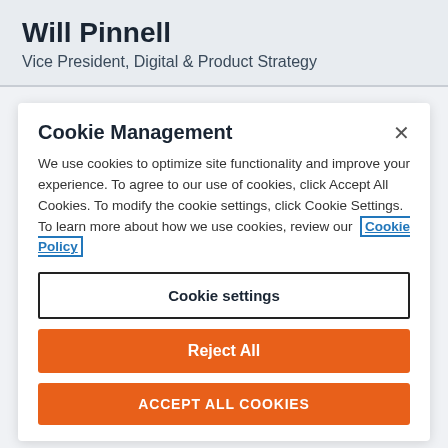Will Pinnell
Vice President, Digital & Product Strategy
Cookie Management
We use cookies to optimize site functionality and improve your experience. To agree to our use of cookies, click Accept All Cookies. To modify the cookie settings, click Cookie Settings. To learn more about how we use cookies, review our Cookie Policy
Cookie settings
Reject All
ACCEPT ALL COOKIES